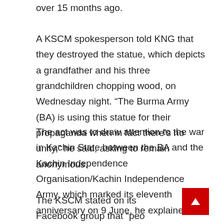over 15 months ago.
A KSCM spokesperson told KNG that they destroyed the statue, which depicts a grandfather and his three grandchildren chopping wood, on Wednesday night. “The Burma Army (BA) is using this statue for their propaganda when in fact there’s no unity,” he said, asking to remain anonymous.
The act was to draw attention to the war in Kachin State between the BA and the Kachin Independence Organisation/Kachin Independence Army, which marked its eleventh anniversary on 9 June, he explained.
The KSCM stated on its Facebook group that “peo must remember the war victims and the internally displaced